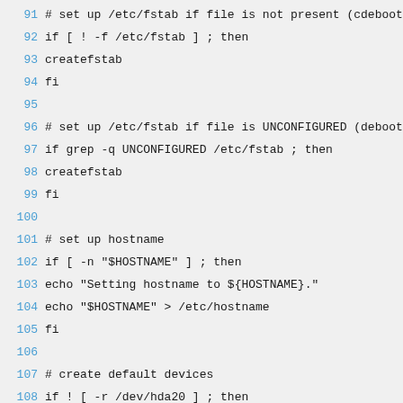Shell script code lines 91-117 showing fstab setup, hostname configuration, device creation, and kernel image detection